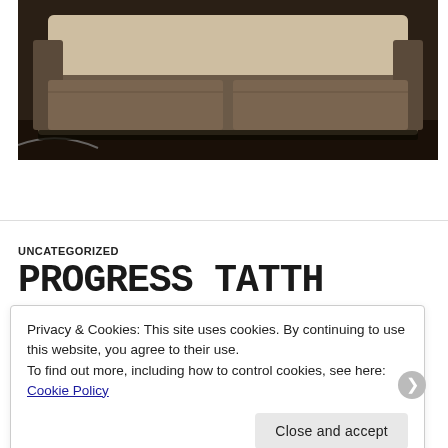[Figure (photo): Dark brown photo of a sofa or upholstered furniture, top portion cropped, showing beige/cream textured cushion on a dark frame]
UNCATEGORIZED
PROGRESS TATTH
Privacy & Cookies: This site uses cookies. By continuing to use this website, you agree to their use.
To find out more, including how to control cookies, see here:
Cookie Policy
Close and accept